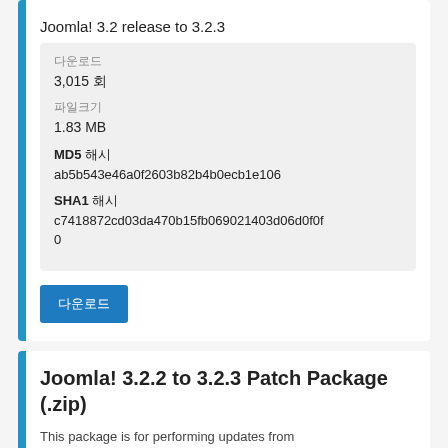Joomla! 3.2 release to 3.2.3
다운로드
3,015 회
파일크기
1.83 MB
MD5 해시
ab5b543e46a0f2603b82b4b0ecb1e106
SHA1 해시
c7418872cd03da470b15fb069021403d06d0f0f0
다운로드
Joomla! 3.2.2 to 3.2.3 Patch Package (.zip)
This package is for performing updates from